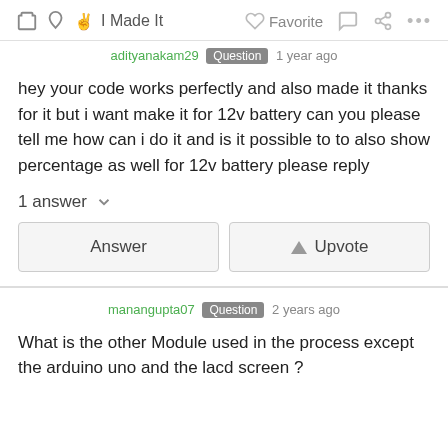I Made It   Favorite   ...
adityanakam29 Question 1 year ago
hey your code works perfectly and also made it thanks for it but i want make it for 12v battery can you please tell me how can i do it and is it possible to to also show percentage as well for 12v battery please reply
1 answer
Answer   Upvote
manangupta07 Question 2 years ago
What is the other Module used in the process except the arduino uno and the lacd screen ?